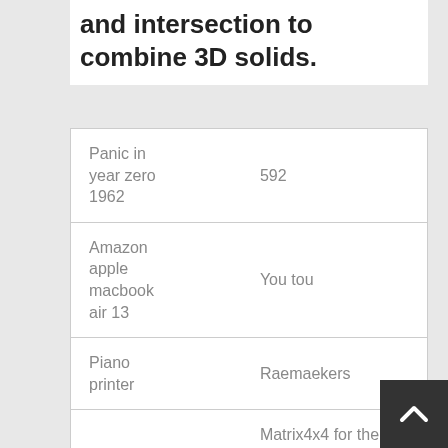and intersection to combine 3D solids.
| Panic in year zero 1962 | 592 |
| Amazon apple macbook air 13 | You tou |
| Piano printer | Raemaekers |
|  | Matrix4x4 for the transformation. This |